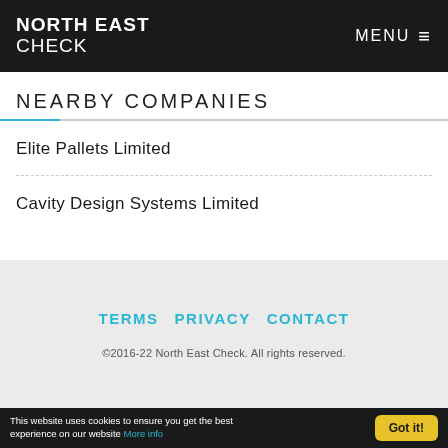NORTH EAST CHECK   MENU ≡
NEARBY COMPANIES
Elite Pallets Limited
Cavity Design Systems Limited
TERMS   PRIVACY   CONTACT
©2016-22 North East Check. All rights reserved.
This website uses cookies to ensure you get the best experience on our website More info   Got it!